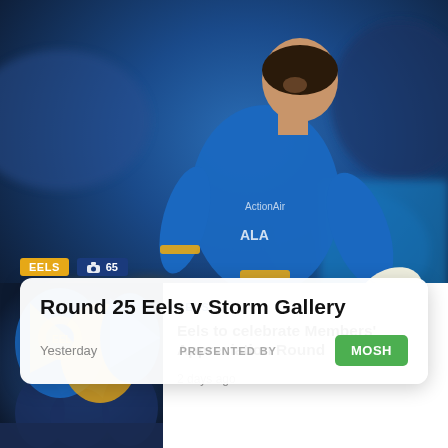[Figure (photo): A rugby league player in blue and gold Parramatta Eels jersey running with the ball, crowd blurred in background]
EELS  📷 65
Round 25 Eels v Storm Gallery
Yesterday   PRESENTED BY   MOSH
[Figure (photo): Parramatta Eels fans in the stands waving blue and gold team flags]
EELS
Eels to celebrate Members' Appreciation Round
2 days ago